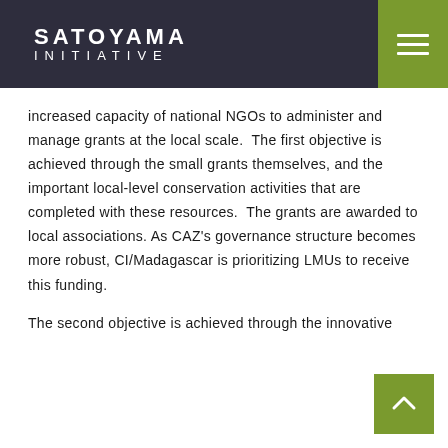SATOYAMA INITIATIVE
increased capacity of national NGOs to administer and manage grants at the local scale. The first objective is achieved through the small grants themselves, and the important local-level conservation activities that are completed with these resources. The grants are awarded to local associations. As CAZ's governance structure becomes more robust, CI/Madagascar is prioritizing LMUs to receive this funding.

The second objective is achieved through the innovative